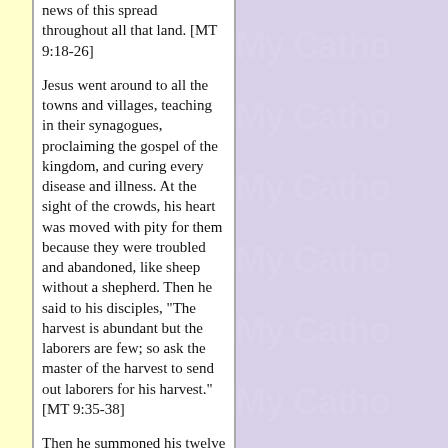news of this spread throughout all that land. [MT 9:18-26]
Jesus went around to all the towns and villages, teaching in their synagogues, proclaiming the gospel of the kingdom, and curing every disease and illness. At the sight of the crowds, his heart was moved with pity for them because they were troubled and abandoned, like sheep without a shepherd. Then he said to his disciples, "The harvest is abundant but the laborers are few; so ask the master of the harvest to send out laborers for his harvest." [MT 9:35-38]
Then he summoned his twelve disciples and gave them authority over unclean spirits to drive them out and